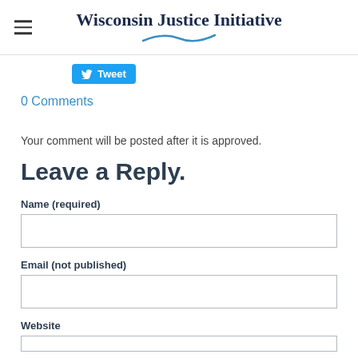Wisconsin Justice Initiative
[Figure (other): Twitter Tweet button (blue rounded rectangle)]
0 Comments
Your comment will be posted after it is approved.
Leave a Reply.
Name (required)
Email (not published)
Website